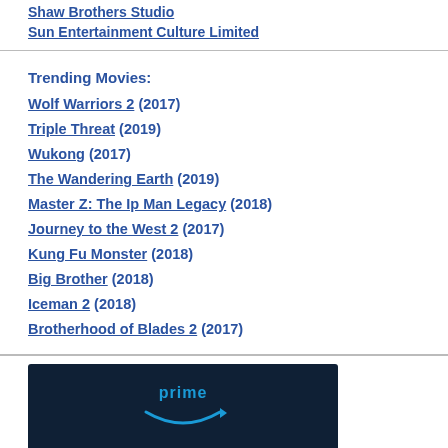Shaw Brothers Studio
Sun Entertainment Culture Limited
Trending Movies:
Wolf Warriors 2 (2017)
Triple Threat (2019)
Wukong (2017)
The Wandering Earth (2019)
Master Z: The Ip Man Legacy (2018)
Journey to the West 2 (2017)
Kung Fu Monster (2018)
Big Brother (2018)
Iceman 2 (2018)
Brotherhood of Blades 2 (2017)
[Figure (logo): Amazon Prime logo with smile icon and 'One membership' text on dark navy background]